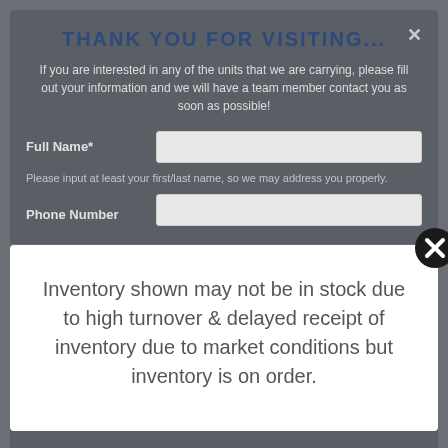THANK YOU FOR VISITING...
If you are interested in any of the units that we are carrying, please fill out your information and we will have a team member contact you as soon as possible!
Full Name*
Please input at least your first/last name, so we may address you properly.
Phone Number
Inventory shown may not be in stock due to high turnover & delayed receipt of inventory due to market conditions but inventory is on order.
No Thanks